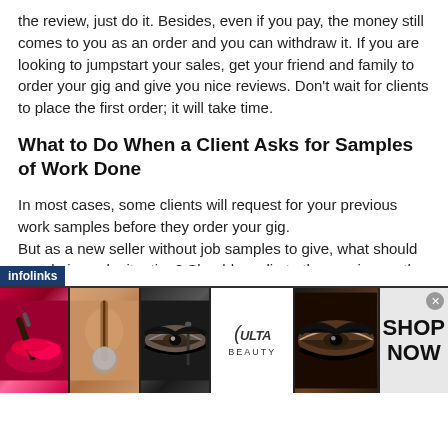the review, just do it. Besides, even if you pay, the money still comes to you as an order and you can withdraw it. If you are looking to jumpstart your sales, get your friend and family to order your gig and give you nice reviews. Don't wait for clients to place the first order; it will take time.
What to Do When a Client Asks for Samples of Work Done
In most cases, some clients will request for your previous work samples before they order your gig.
But as a new seller without job samples to give, what should you do in such situation? Should you lie to them or ignore the client? You don't need to do any of these. Know that when clients ask for samples, they are just sceptical about your ability to deliver the type of quality they want.
[Figure (screenshot): An infolinks advertisement banner showing makeup-related images from Ulta Beauty with a 'SHOP NOW' call-to-action button. Contains multiple panels: red lips with makeup brush, powder brush, dramatic eye with eyeliner pencil, Ulta Beauty logo, smoky eye close-up, and Shop Now text panel. Has a close (x) button in top right corner.]